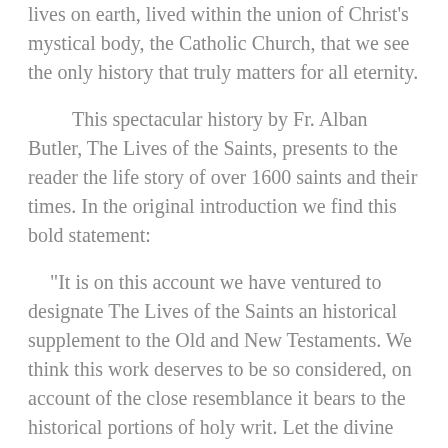lives on earth, lived within the union of Christ's mystical body, the Catholic Church, that we see the only history that truly matters for all eternity.
This spectacular history by Fr. Alban Butler, The Lives of the Saints, presents to the reader the life story of over 1600 saints and their times. In the original introduction we find this bold statement:
“It is on this account we have ventured to designate The Lives of the Saints an historical supplement to the Old and New Testaments. We think this work deserves to be so considered, on account of the close resemblance it bears to the historical portions of holy writ. Let the divine economy, in this respect, be for a moment the subject of the reader’s consideration.”
Loreto Publications has here reproduced the finest